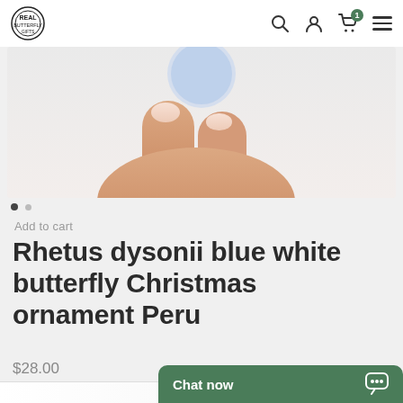Navigation header with logo, search, account, cart (1 item), and menu icons
[Figure (photo): Partial product photo showing a hand holding a blue white butterfly Christmas ornament against a light background, cropped at top]
Add to cart
Rhetus dysonii blue white butterfly Christmas ornament Peru
$28.00
Chat now